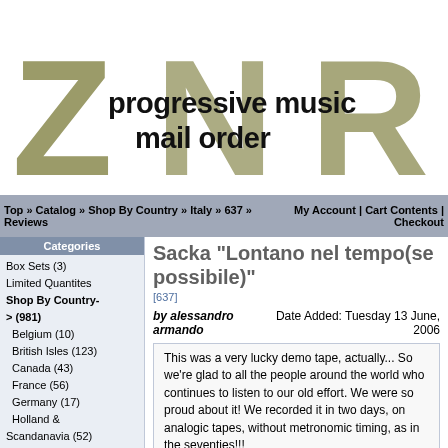[Figure (logo): ZNR Progressive Music Mail Order logo with large stylized Z, N, R letters in olive/gold color and bold text 'progressive music mail order']
Top » Catalog » Shop By Country » Italy » 637 »   My Account | Cart Contents | Reviews   Checkout
Categories
Box Sets (3)
Limited Quantites
Shop By Country-> (981)
Belgium (10)
British Isles (123)
Canada (43)
France (56)
Germany (17)
Holland & Scandanavia (52)
Italy (127)
Japan & Asia (24)
Misc. Artists - Other Countries (41)
South America (39)
Spain (8)
Switzerland (23)
United States (418)
Shop By Label-> (219)
Special Categories-> (24)
Used CDs (21)
Quicklist by Artist
Sacka "Lontano nel tempo(se possibile)"
[637]
by alessandro armando
Date Added: Tuesday 13 June, 2006
This was a very lucky demo tape, actually... So we're glad to all the people around the world who continues to listen to our old effort. We were so proud about it! We recorded it in two days, on analogic tapes, without metronomic timing, as in the seventies!!!

SACKA was the acronymous name for the band from the nicknames of its memebers (Steo, Alby, Coje, Koppy, Ale). The band played in Italy between 1996 and 2001, and in 2000 opened the Steve Hackett's concert at Vigevano Prog Rock